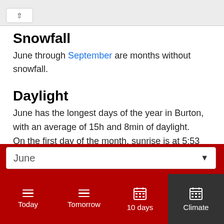Snowfall
June through September are months without snowfall.
Daylight
June has the longest days of the year in Burton, with an average of 15h and 8min of daylight.
On the first day of the month, sunrise is at 5:53 am and sunset at 8:51 pm. On the last day of June, sunrise is at 5:54 am and sunset at 9:02 pm EDT
[Figure (screenshot): Dropdown selector showing 'June' with a down-arrow, and a bottom navigation bar with tabs: Today, Tomorrow, 10 days, Climate (active/dark background)]